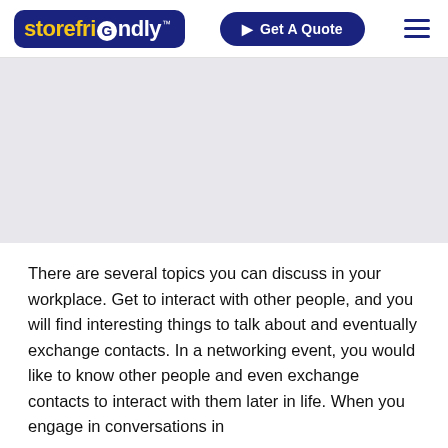storefriGndly™ | Get A Quote
[Figure (illustration): Gray placeholder/banner area below the navigation header]
There are several topics you can discuss in your workplace. Get to interact with other people, and you will find interesting things to talk about and eventually exchange contacts. In a networking event, you would like to know other people and even exchange contacts to interact with them later in life. When you engage in conversations in